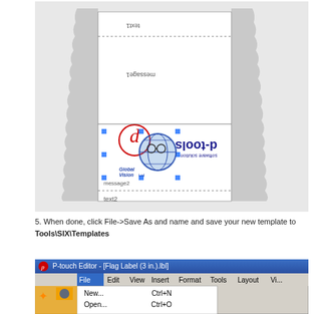[Figure (screenshot): P-touch Editor label design showing a flag label template with d-tools logo (upside down), Global Vision Ltd logo selected with blue handles, and text fields labeled message1, message2, text1, text2 visible on the label layout.]
5. When done, click File->Save As and name and save your new template to Tools\SIX\Templates
[Figure (screenshot): P-touch Editor application window showing the menu bar with File menu open, displaying New... Ctrl+N and Open... Ctrl+O menu items.]